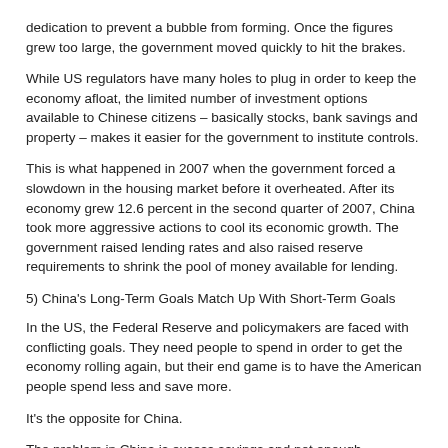dedication to prevent a bubble from forming. Once the figures grew too large, the government moved quickly to hit the brakes.
While US regulators have many holes to plug in order to keep the economy afloat, the limited number of investment options available to Chinese citizens – basically stocks, bank savings and property – makes it easier for the government to institute controls.
This is what happened in 2007 when the government forced a slowdown in the housing market before it overheated. After its economy grew 12.6 percent in the second quarter of 2007, China took more aggressive actions to cool its economic growth. The government raised lending rates and also raised reserve requirements to shrink the pool of money available for lending.
5) China's Long-Term Goals Match Up With Short-Term Goals
In the US, the Federal Reserve and policymakers are faced with conflicting goals. They need people to spend in order to get the economy rolling again, but their end game is to have the American people spend less and save more.
It's the opposite for China.
The problem in China is excess savings and not enough spending. The short-term and long-term challenges are the same – to get people to spend more.